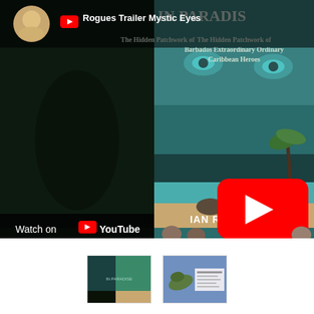[Figure (screenshot): YouTube video thumbnail for 'Rogues Trailer Mystic Eyes' showing a book cover for 'In Paradise: The Hidden Patchwork of Barbados Extraordinary Ordinary Caribbean Heroes' by Ian R. Clayton, with a YouTube play button overlay and 'Watch on YouTube' text at the bottom left.]
[Figure (screenshot): Small thumbnail showing book cover artwork (green tones).]
[Figure (screenshot): Small thumbnail showing another page/image related to the book with blue tones.]